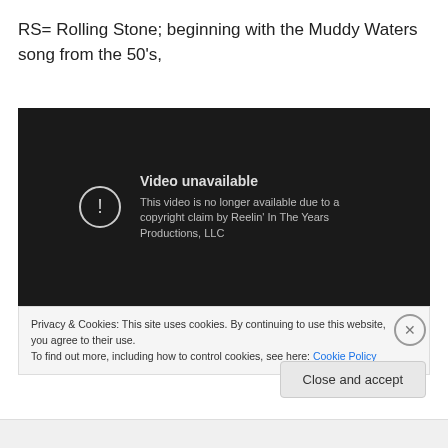RS= Rolling Stone; beginning with the Muddy Waters song from the 50's,
[Figure (screenshot): Embedded video player showing 'Video unavailable' message. Text reads: 'This video is no longer available due to a copyright claim by Reelin' In The Years Productions, LLC']
Privacy & Cookies: This site uses cookies. By continuing to use this website, you agree to their use.
To find out more, including how to control cookies, see here: Cookie Policy
Close and accept